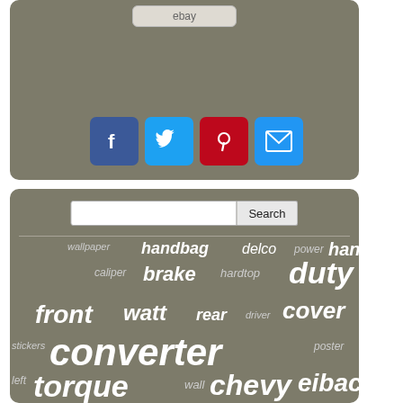[Figure (screenshot): eBay button at top of gray panel]
[Figure (infographic): Social media sharing icons: Facebook (blue), Twitter (light blue), Pinterest (red), Email (blue)]
[Figure (infographic): Search bar with text input and Search button]
[Figure (infographic): Word cloud on gray background with words: wallpaper, handbag, delco, power, hand, caliper, brake, hardtop, duty, front, watt, rear, driver, cover, stickers, converter, poster, left, torque, wall, chevy, eibach, transport, series, voltage, pro-kit]